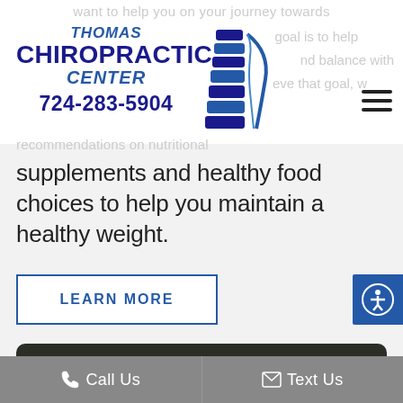[Figure (logo): Thomas Chiropractic Center logo with spine graphic and phone number 724-283-5904]
want to help you on your journey towards
goal is to help
nd balance with
eve that goal, w
recommendations on nutritional
supplements and healthy food choices to help you maintain a healthy weight.
LEARN MORE
[Figure (photo): Dark background photo, partially visible at bottom of page]
Call Us   Text Us